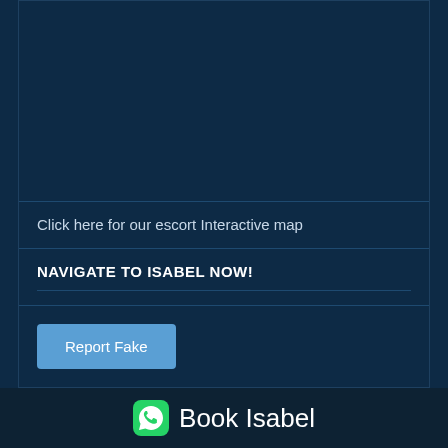[Figure (map): Dark blue map area placeholder]
Click here for our escort Interactive map
NAVIGATE TO ISABEL NOW!
Report Fake
Book Isabel